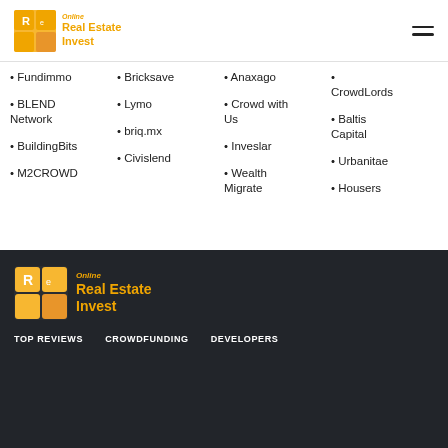[Figure (logo): Online Real Estate Invest logo - orange square icon with letter R and text]
• Fundimmo
• Bricksave
• Anaxago
• CrowdLords
• BLEND Network
• Lymo
• Crowd with Us
• Baltis Capital
• BuildingBits
• briq.mx
• Inveslar
• Urbanitae
• M2CROWD
• Civislend
• Wealth Migrate
• Housers
[Figure (logo): Online Real Estate Invest footer logo - orange icon with text on dark background]
TOP REVIEWS   CROWDFUNDING   DEVELOPERS